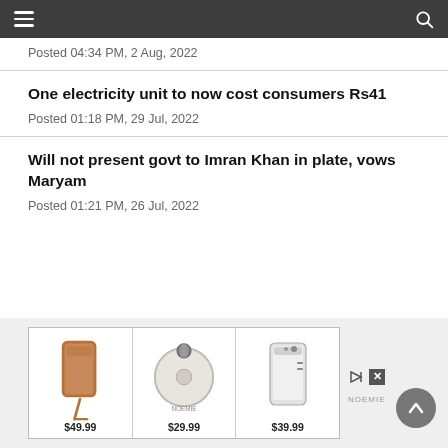Navigation bar with hamburger menu and search icon
Posted 04:34 PM, 2 Aug, 2022
One electricity unit to now cost consumers Rs41
Posted 01:18 PM, 29 Jul, 2022
Will not present govt to Imran Khan in plate, vows Maryam
Posted 01:21 PM, 26 Jul, 2022
[Figure (advertisement): Ad strip showing three product images with prices: phone case $49.99, round bag $29.99, phone case $39.99, with Noemie brand logo]